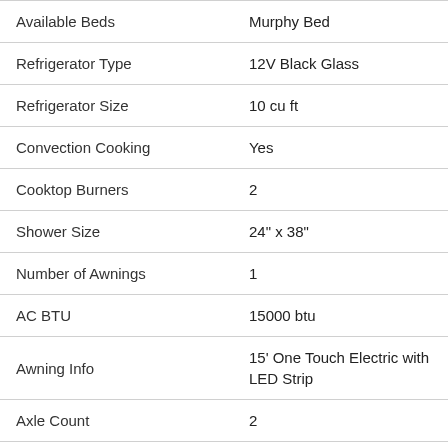| Feature | Value |
| --- | --- |
| Available Beds | Murphy Bed |
| Refrigerator Type | 12V Black Glass |
| Refrigerator Size | 10 cu ft |
| Convection Cooking | Yes |
| Cooktop Burners | 2 |
| Shower Size | 24" x 38" |
| Number of Awnings | 1 |
| AC BTU | 15000 btu |
| Awning Info | 15' One Touch Electric with LED Strip |
| Axle Count | 2 |
| Shower Type | Standard |
| Electrical Service | 30 amp |